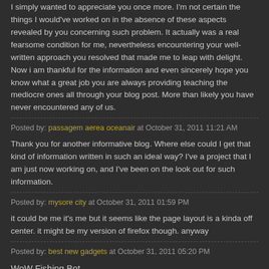I simply wanted to appreciate you once more. I'm not certain the things I would've worked on in the absence of these aspects revealed by you concerning such problem. It actually was a real fearsome condition for me, nevertheless encountering your well-written approach you resolved that made me to leap with delight. Now i am thankful for the information and even sincerely hope you know what a great job you are always providing teaching the mediocre ones all through your blog post. More than likely you have never encountered any of us.
Posted by: passagem aerea oceanair at October 31, 2011 11:21 AM
Thank you for another informative blog. Where else could I get that kind of information written in such an ideal way? I've a project that I am just now working on, and I've been on the look out for such information.
Posted by: mysore city at October 31, 2011 01:59 PM
it could be me it's me but it seems like the page layout is a kinda off center. it might be my version of firefox though. anyway
Posted by: best new gadgets at October 31, 2011 05:20 PM
WoW Fishing Bot
Posted by: Brant Pigao at November 1, 2011 02:48 AM